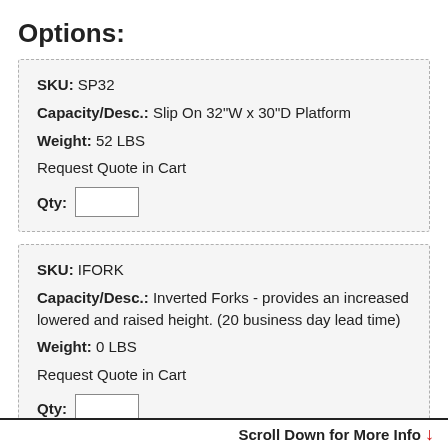Options:
SKU: SP32
Capacity/Desc.: Slip On 32"W x 30"D Platform
Weight: 52 LBS
Request Quote in Cart
Qty:
SKU: IFORK
Capacity/Desc.: Inverted Forks - provides an increased lowered and raised height. (20 business day lead time)
Weight: 0 LBS
Request Quote in Cart
Qty:
Scroll Down for More Info ↓